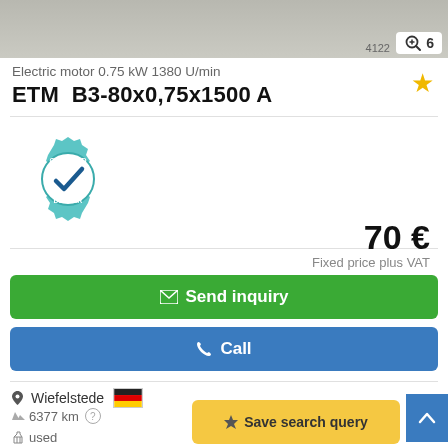[Figure (photo): Top portion of a product photo showing an electric motor, partially cropped. Image counter shows '6' with zoom icon.]
Electric motor 0.75 kW 1380 U/min
ETM  B3-80x0,75x1500 A
[Figure (illustration): Certified Dealer badge/seal: teal gear shape with checkmark and text CERTIFIED DEALER]
70 €
Fixed price plus VAT
✉ Send inquiry
📞 Call
Wiefelstede 🇩🇪
6377 km
used
Save search query